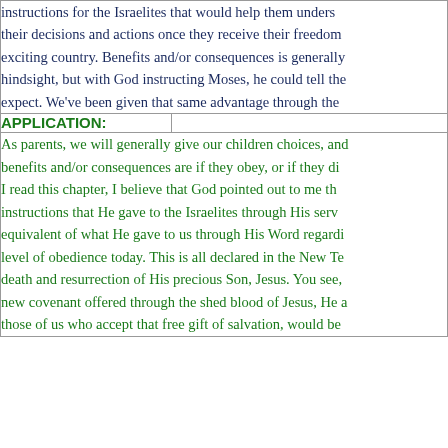instructions for the Israelites that would help them understand their decisions and actions once they receive their freedom in an exciting country. Benefits and/or consequences is generally seen in hindsight, but with God instructing Moses, he could tell them what to expect. We've been given that same advantage through the
| APPLICATION: |  |
| --- | --- |
As parents, we will generally give our children choices, and tell them benefits and/or consequences are if they obey, or if they disobey. As I read this chapter, I believe that God pointed out to me that the instructions that He gave to the Israelites through His servant Moses is equivalent of what He gave to us through His Word regarding our level of obedience today. This is all declared in the New Testament after the death and resurrection of His precious Son, Jesus. You see, through the new covenant offered through the shed blood of Jesus, He a those of us who accept that free gift of salvation, would be